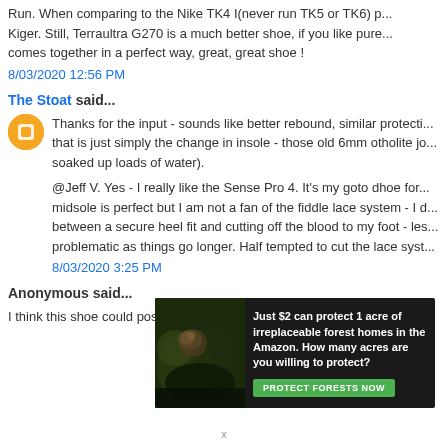Run. When comparing to the Nike TK4 I(never run TK5 or TK6) p... Kiger. Still, Terraultra G270 is a much better shoe, if you like pure... comes together in a perfect way, great, great shoe !
8/03/2020 12:56 PM
The Stoat said...
Thanks for the input - sounds like better rebound, similar protecti... that is just simply the change in insole - those old 6mm otholite jo... soaked up loads of water).
@Jeff V. Yes - I really like the Sense Pro 4. It's my goto dhoe for... midsole is perfect but I am not a fan of the fiddle lace system - I d... between a secure heel fit and cutting off the blood to my foot - les... problematic as things go longer. Half tempted to cut the lace syst...
8/03/2020 3:25 PM
Anonymous said...
I think this shoe could possibly be compared to the VJ MAXx sho...
[Figure (infographic): Advertisement banner: dark forest background with text 'Just $2 can protect 1 acre of irreplaceable forest homes in the Amazon. How many acres are you willing to protect?' with a green 'PROTECT FORESTS NOW' button.]